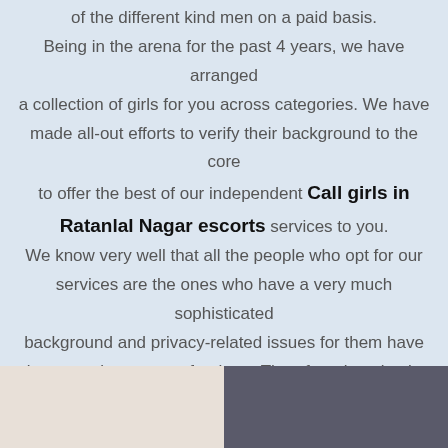of the different kind men on a paid basis. Being in the arena for the past 4 years, we have arranged a collection of girls for you across categories. We have made all-out efforts to verify their background to the core to offer the best of our independent Call girls in Ratanlal Nagar escorts services to you. We know very well that all the people who opt for our services are the ones who have a very much sophisticated background and privacy-related issues for them have immense importance for them. Therefore, keeping in view the same, every girl that we have included in our pool to serve you is neat and clean on all parameters. You may wish the services of your class.
[Figure (photo): Two photos side by side at the bottom of the page: left shows a light-colored scene (possibly a person or item on light background), right shows a dark/colorful image (possibly a person or decorative item on dark background)]